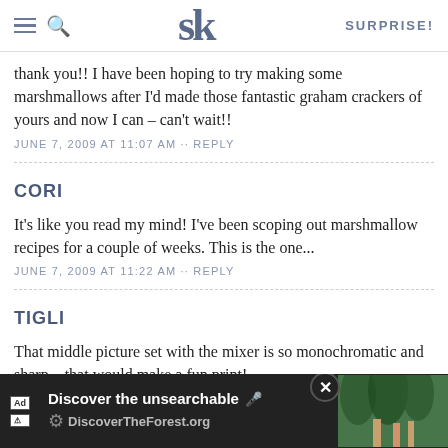SK SURPRISE!
thank you!! I have been hoping to try making some marshmallows after I'd made those fantastic graham crackers of yours and now I can – can't wait!!
JUNE 7, 2009 AT 11:07 AM · · REPLY
CORI
It's like you read my mind! I've been scoping out marshmallow recipes for a couple of weeks. This is the one...
JUNE 7, 2009 AT 11:22 AM · · REPLY
TIGLI
That middle picture set with the mixer is so monochromatic and sharp... that would make a fun print!
I would r... ows
[Figure (screenshot): Advertisement banner: 'Discover the unsearchable' with DiscoverTheForest.org and a photo of people in a forest]